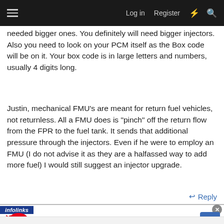Log in   Register
needed bigger ones. You definitely will need bigger injectors. Also you need to look on your PCM itself as the Box code will be on it. Your box code is in large letters and numbers, usually 4 digits long.
Justin, mechanical FMU's are meant for return fuel vehicles, not returnless. All a FMU does is "pinch" off the return flow from the FPR to the fuel tank. It sends that additional pressure through the injectors. Even if he were to employ an FMU (I do not advise it as they are a halfassed way to add more fuel) I would still suggest an injector upgrade.
Reply
[Figure (screenshot): Infolinks advertisement bar with Dairy Queen ad showing Takeout and Delivery options]